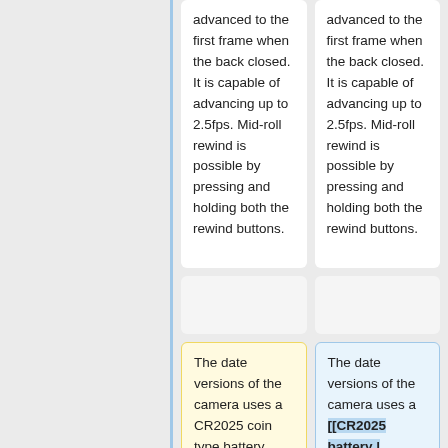advanced to the first frame when the back closed. It is capable of advancing up to 2.5fps. Mid-roll rewind is possible by pressing and holding both the rewind buttons.
advanced to the first frame when the back closed. It is capable of advancing up to 2.5fps. Mid-roll rewind is possible by pressing and holding both the rewind buttons.
The date versions of the camera uses a CR2025 coin type battery located in the camera back. It has a 24 hour clock with an
The date versions of the camera uses a [[CR2025 battery | CR2025]] coin type battery located in the camera back. It has a 24 hour